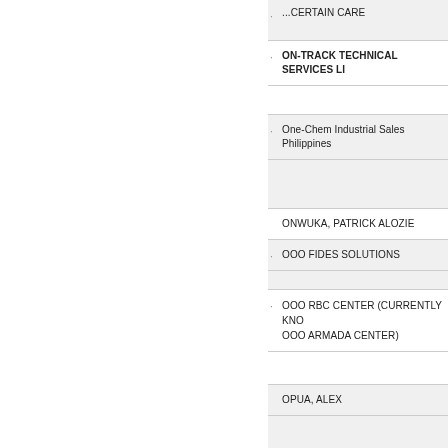ON-TRACK TECHNICAL SERVICES LI...
One-Chem Industrial Sales Philippines
ONWUKA, PATRICK ALOZIE
OOO FIDES SOLUTIONS
OOO RBC CENTER (CURRENTLY KNO... OOO ARMADA CENTER)
OPUA, ALEX
OREGON PACIFIC INTERNATIONAL C...